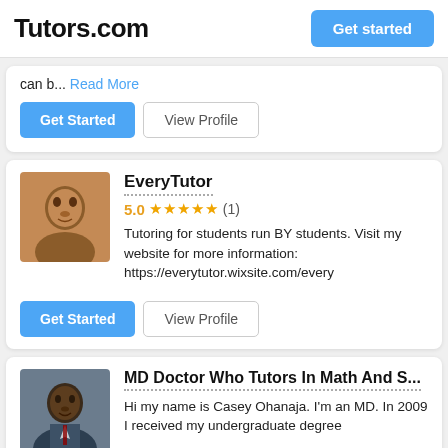Tutors.com | Get started
can b... Read More
Get Started | View Profile
EveryTutor
5.0 ★★★★★ (1)
Tutoring for students run BY students. Visit my website for more information: https://everytutor.wixsite.com/every
Get Started | View Profile
MD Doctor Who Tutors In Math And S...
Hi my name is Casey Ohanaja. I'm an MD. In 2009 I received my undergraduate degree